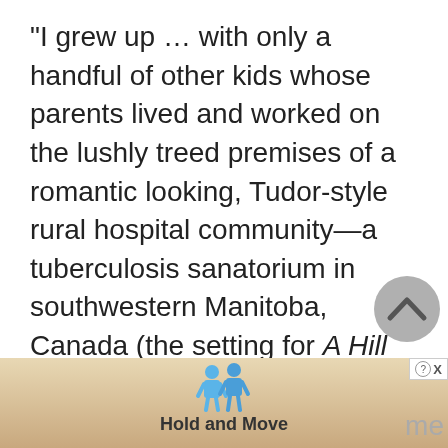"I grew up … with only a handful of other kids whose parents lived and worked on the lushly treed premises of a romantic looking, Tudor-style rural hospital community—a tuberculosis sanatorium in southwestern Manitoba, Canada (the setting for A Hill for Looking, and as well—in fictionalized form—for Only a Paper Moon). Tuberculosis in the 1950s was still a disease as serious as cancer or
[Figure (other): A grey circular back-to-top button with an upward-pointing chevron icon]
[Figure (other): An advertisement banner overlay at the bottom of the page showing cartoon figures and the text 'Hold and Move' with a close button (X) and info button]